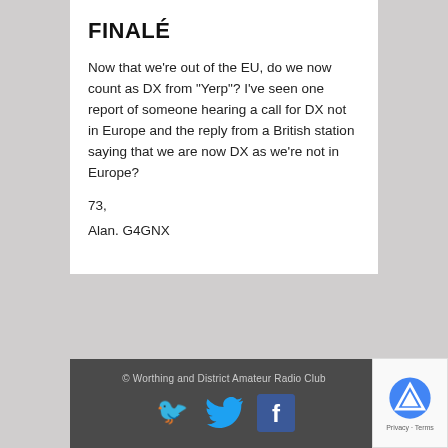FINALÉ
Now that we're out of the EU, do we now count as DX from "Yerp"? I've seen one report of someone hearing a call for DX not in Europe and the reply from a British station saying that we are now DX as we're not in Europe?
73,
Alan. G4GNX
© Worthing and District Amateur Radio Club